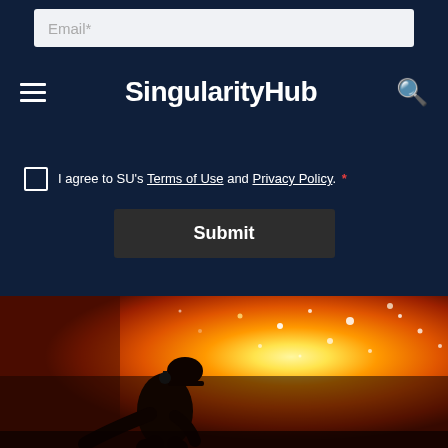Email*
SingularityHub
I agree to SU's Terms of Use and Privacy Policy. *
Submit
[Figure (photo): Silhouette of a worker in protective gear against a backdrop of intense fire and sparks from a steel foundry or smelting operation. The background glows bright orange, red, and yellow with molten metal sparks.]